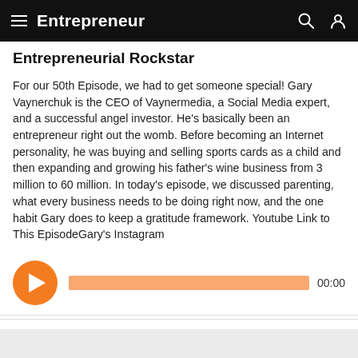Entrepreneur
Entrepreneurial Rockstar
For our 50th Episode, we had to get someone special! Gary Vaynerchuk is the CEO of Vaynermedia, a Social Media expert, and a successful angel investor. He's basically been an entrepreneur right out the womb. Before becoming an Internet personality, he was buying and selling sports cards as a child and then expanding and growing his father's wine business from 3 million to 60 million. In today's episode, we discussed parenting, what every business needs to be doing right now, and the one habit Gary does to keep a gratitude framework. Youtube Link to This EpisodeGary's Instagram
[Figure (other): Audio player with orange play button, orange progress bar, and 00:00 time label]